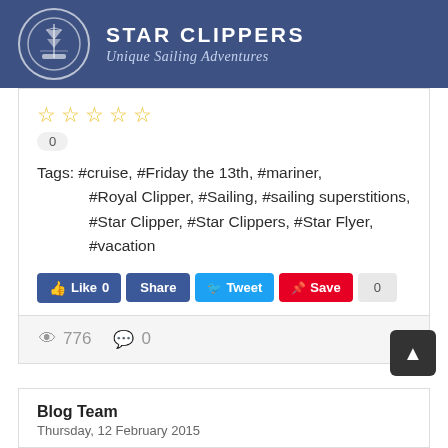[Figure (logo): Star Clippers logo banner with blue background, oval ship logo, 'STAR CLIPPERS' text and 'Unique Sailing Adventures' subtitle]
☆ ☆ ☆ ☆ ☆
0
Tags: #cruise, #Friday the 13th, #mariner, #Royal Clipper, #Sailing, #sailing superstitions, #Star Clipper, #Star Clippers, #Star Flyer, #vacation
Like 0  Share  Tweet  Save  0
👁 776  💬 0
Blog Team
Thursday, 12 February 2015